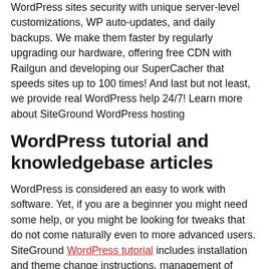WordPress sites security with unique server-level customizations, WP auto-updates, and daily backups. We make them faster by regularly upgrading our hardware, offering free CDN with Railgun and developing our SuperCacher that speeds sites up to 100 times! And last but not least, we provide real WordPress help 24/7! Learn more about SiteGround WordPress hosting
WordPress tutorial and knowledgebase articles
WordPress is considered an easy to work with software. Yet, if you are a beginner you might need some help, or you might be looking for tweaks that do not come naturally even to more advanced users. SiteGround WordPress tutorial includes installation and theme change instructions, management of WordPress plugins, manual upgrade and backup creation, and more. If you are looking for a more rare